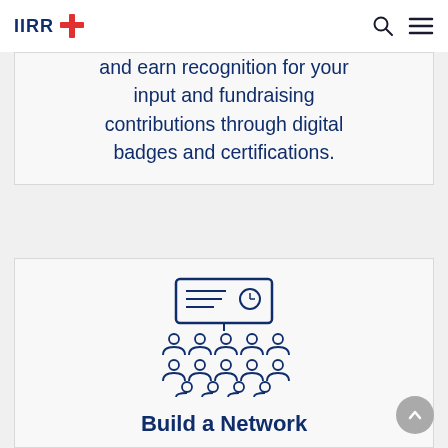IIRR
and earn recognition for your input and fundraising contributions through digital badges and certifications.
[Figure (illustration): Icon showing a presentation board with bullet points and a clock, above three rows of people/audience icons, representing networking or a group meeting]
Build a Network
Network with other